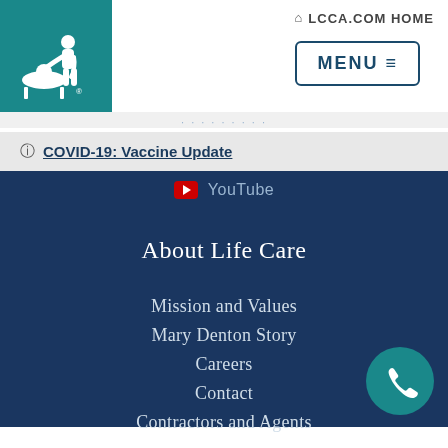[Figure (logo): LCCA Life Care Centers of America logo — white silhouette of caregiver and patient on teal background]
LCCA.COM HOME
MENU ≡
ⓘ COVID-19: Vaccine Update
YouTube
About Life Care
Mission and Values
Mary Denton Story
Careers
Contact
Contractors and Agents
[Figure (illustration): Teal circular phone/call button icon in bottom right corner]